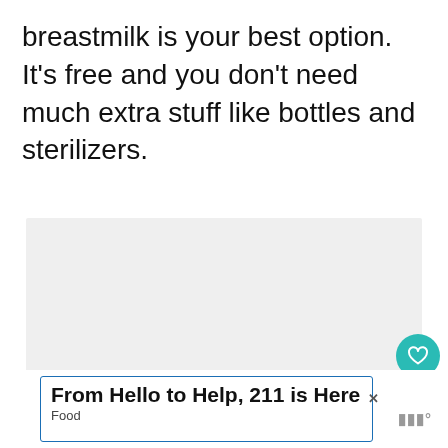breastmilk is your best option. It's free and you don't need much extra stuff like bottles and sterilizers.
[Figure (photo): A large light gray image placeholder area for a photo related to breastfeeding content]
[Figure (other): WHAT'S NEXT arrow label with thumbnail image and text: Free Baby Stuff for Ne...]
From Hello to Help, 211 is Here
Food